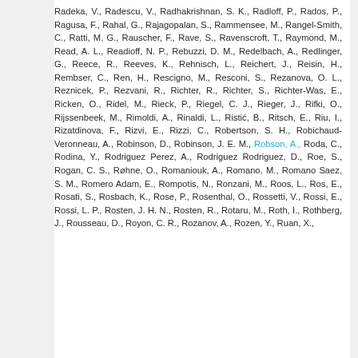Radeka, V., Radescu, V., Radhakrishnan, S. K., Radloff, P., Rados, P., Ragusa, F., Rahal, G., Rajagopalan, S., Rammensee, M., Rangel-Smith, C., Ratti, M. G., Rauscher, F., Rave, S., Ravenscroft, T., Raymond, M., Read, A. L., Readioff, N. P., Rebuzzi, D. M., Redelbach, A., Redlinger, G., Reece, R., Reeves, K., Rehnisch, L., Reichert, J., Reisin, H., Rembser, C., Ren, H., Rescigno, M., Resconi, S., Rezanova, O. L., Reznicek, P., Rezvani, R., Richter, R., Richter, S., Richter-Was, E., Ricken, O., Ridel, M., Rieck, P., Riegel, C. J., Rieger, J., Rifki, O., Rijssenbeek, M., Rimoldi, A., Rinaldi, L., Ristić, B., Ritsch, E., Riu, I., Rizatdinova, F., Rizvi, E., Rizzi, C., Robertson, S. H., Robichaud-Veronneau, A., Robinson, D., Robinson, J. E. M., Robson, A., Roda, C., Rodina, Y., Rodriguez Perez, A., Rodriguez Rodriguez, D., Roe, S., Rogan, C. S., Røhne, O., Romaniouk, A., Romano, M., Romano Saez, S. M., Romero Adam, E., Rompotis, N., Ronzani, M., Roos, L., Ros, E., Rosati, S., Rosbach, K., Rose, P., Rosenthal, O., Rossetti, V., Rossi, E., Rossi, L. P., Rosten, J. H. N., Rosten, R., Rotaru, M., Roth, I., Rothberg, J., Rousseau, D., Royon, C. R., Rozanov, A., Rozen, Y., Ruan, X.,